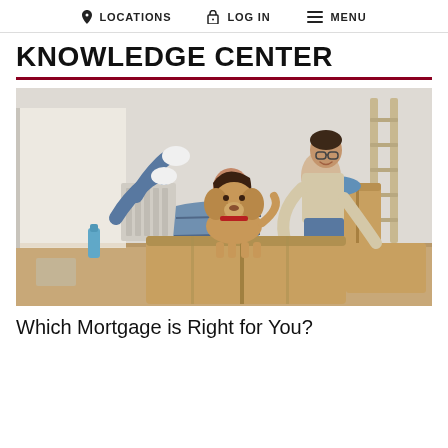LOCATIONS  LOG IN  MENU
KNOWLEDGE CENTER
[Figure (photo): A happy couple with their golden poodle dog in a room full of moving boxes. The woman is sitting/lying inside a cardboard box laughing, while the man pushes the box from behind smiling. The dog stands on another box watching them. The room has a bright, airy feel with hardwood floors.]
Which Mortgage is Right for You?